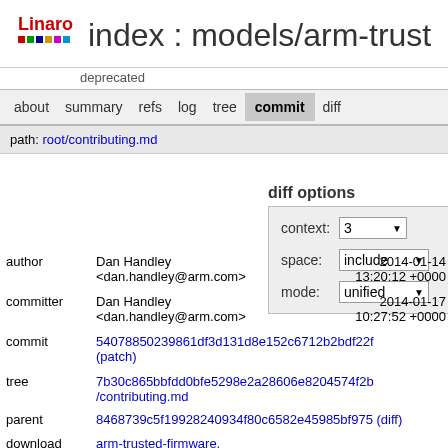index : models/arm-trust
deprecated
about   summary   refs   log   tree   commit   diff
path: root/contributing.md
diff options
context: 3
space: include
mode: unified
author   Dan Handley <dan.handley@arm.com>   2014-01-14 13:20:12 +0000
committer   Dan Handley <dan.handley@arm.com>   2014-01-17 10:27:52 +0000
commit   54078850239861df3d131d8e152c6712b2bdf22f (patch)
tree   7b30c865bbfdd0bfe5298e2a28606e8204574f2b /contributing.md
parent   8468739c5f19928240934f80c6582e45985bf975 (diff)
download   arm-trusted-firmware.